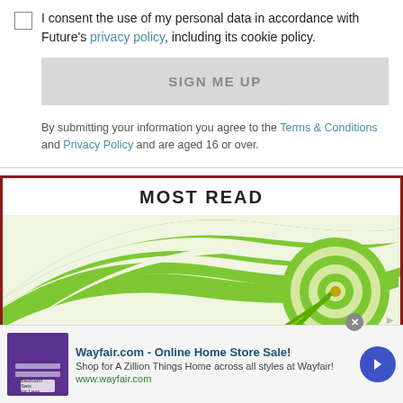I consent the use of my personal data in accordance with Future's privacy policy, including its cookie policy.
SIGN ME UP
By submitting your information you agree to the Terms & Conditions and Privacy Policy and are aged 16 or over.
MOST READ
[Figure (illustration): Green and white swirling spiral pattern with a target/bullseye-like circular element on the right side with a yellow center and green arrow.]
Wayfair.com - Online Home Store Sale! Shop for A Zillion Things Home across all styles at Wayfair! www.wayfair.com